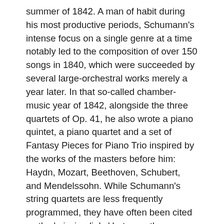summer of 1842. A man of habit during his most productive periods, Schumann's intense focus on a single genre at a time notably led to the composition of over 150 songs in 1840, which were succeeded by several large-orchestral works merely a year later. In that so-called chamber-music year of 1842, alongside the three quartets of Op. 41, he also wrote a piano quintet, a piano quartet and a set of Fantasy Pieces for Piano Trio inspired by the works of the masters before him: Haydn, Mozart, Beethoven, Schubert, and Mendelssohn. While Schumann's string quartets are less frequently programmed, they have often been cited as the 'missing links' between the quartets of Mendelssohn and Brahms, a testament to his unique gifts as a composer.
As one of the finest contributions to the genre, the first quartet of Op. 41 begins in A minor, using falling motifs engaged in imitative counterpoint at every turn, wrought in anguish and sorrow. The curling lines are eventually unravelled breaking into a sunny Allegro in 6/8 and the ...